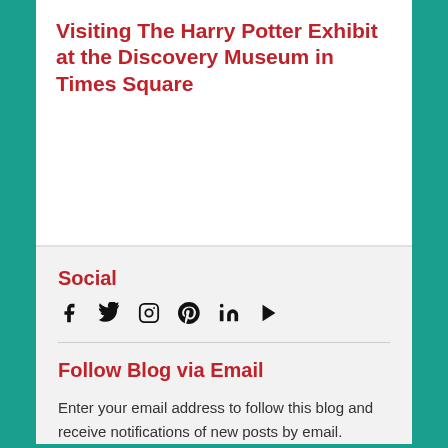Visiting The Harry Potter Exhibit at the Discovery Museum in Times Square
— by ONEGOODDAD
Social
Social media icons: Facebook, Twitter, Instagram, Pinterest, LinkedIn, YouTube
Follow Blog via Email
Enter your email address to follow this blog and receive notifications of new posts by email.